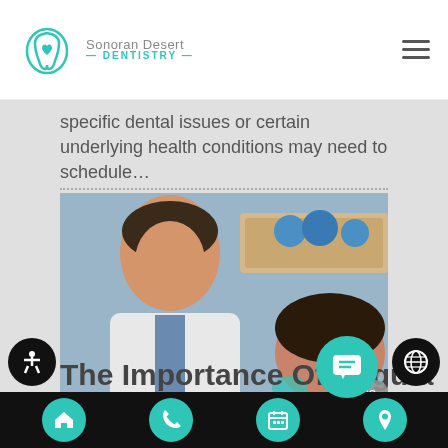Sonoran Desert Dentistry
specific dental issues or certain underlying health conditions may need to schedule…
[Figure (photo): Dentist in white coat examining a female patient who is reclining in the dental chair, with dental supplies visible in background]
close
Hi there! Do you have any questions? I am happy to help!
The Importance Of Regula
Home | Phone | Calendar | Location icons; Accessibility, Globe, Chat FAB buttons